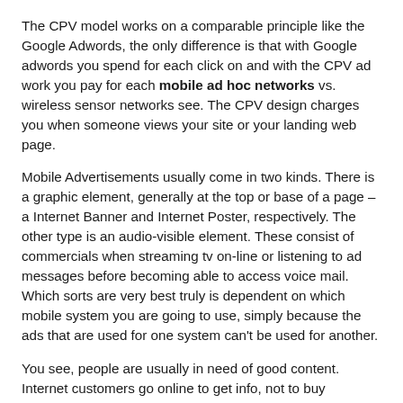The CPV model works on a comparable principle like the Google Adwords, the only difference is that with Google adwords you spend for each click on and with the CPV ad work you pay for each mobile ad hoc networks vs. wireless sensor networks see. The CPV design charges you when someone views your site or your landing web page.
Mobile Advertisements usually come in two kinds. There is a graphic element, generally at the top or base of a page – a Internet Banner and Internet Poster, respectively. The other type is an audio-visible element. These consist of commercials when streaming tv on-line or listening to ad messages before becoming able to access voice mail. Which sorts are very best truly is dependent on which mobile system you are going to use, simply because the ads that are used for one system can't be used for another.
You see, people are usually in need of good content. Internet customers go online to get info, not to buy products. They might do that later on, but only after they read, listen or view information pertinent to the goods or solutions mobile ad networks in uae.
Make certain though that if you use this technique your URL is